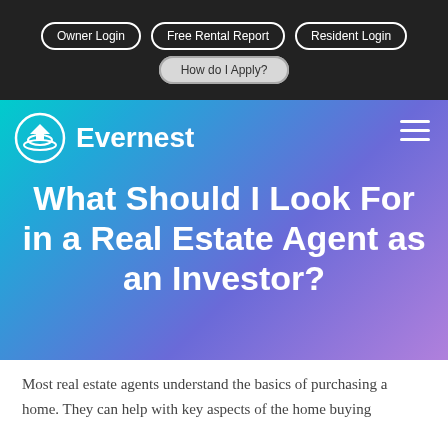Owner Login | Free Rental Report | Resident Login | How do I Apply?
[Figure (logo): Evernest logo: circular icon with house/wave symbol and text 'Evernest' in white on gradient background]
What Should I Look For in a Real Estate Agent as an Investor?
Most real estate agents understand the basics of purchasing a home. They can help with key aspects of the home buying